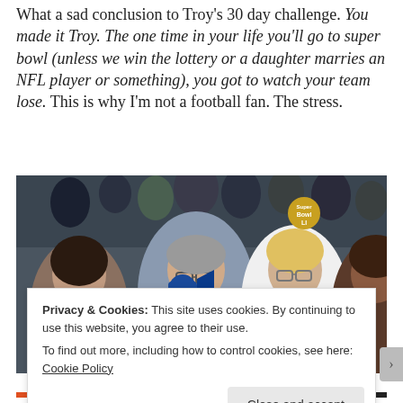What a sad conclusion to Troy's 30 day challenge. You made it Troy. The one time in your life you'll go to super bowl (unless we win the lottery or a daughter marries an NFL player or something), you got to watch your team lose. This is why I'm not a football fan. The stress.
[Figure (photo): Crowd of people at a Super Bowl game, man in center holding a blue megaphone/cheering horn, women with glasses visible on either side, various people in stands behind them.]
Privacy & Cookies: This site uses cookies. By continuing to use this website, you agree to their use.
To find out more, including how to control cookies, see here: Cookie Policy
Close and accept